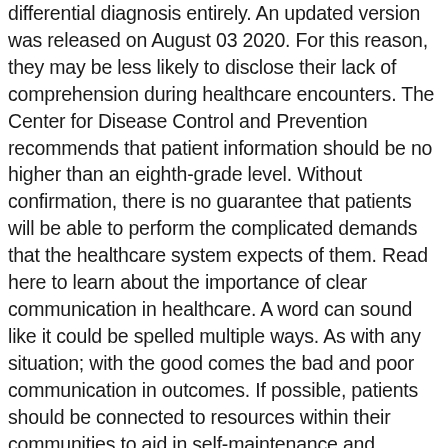differential diagnosis entirely. An updated version was released on August 03 2020. For this reason, they may be less likely to disclose their lack of comprehension during healthcare encounters. The Center for Disease Control and Prevention recommends that patient information should be no higher than an eighth-grade level. Without confirmation, there is no guarantee that patients will be able to perform the complicated demands that the healthcare system expects of them. Read here to learn about the importance of clear communication in healthcare. A word can sound like it could be spelled multiple ways. As with any situation; with the good comes the bad and poor communication in outcomes. If possible, patients should be connected to resources within their communities to aid in self-maintenance and prevention. Assessments employed should be simple to administer and evaluate, and data entry for the administered assessments should fit into preexisting workflows. The study found that the most time-intensive component was the re-education of providers on screening tool processes. To listen to another